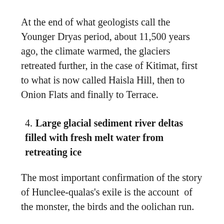At the end of what geologists call the Younger Dryas period, about 11,500 years ago, the climate warmed, the glaciers retreated further, in the case of Kitimat, first to what is now called Haisla Hill, then to Onion Flats and finally to Terrace.
4. Large glacial sediment river deltas filled with fresh melt water from retreating ice
The most important confirmation of the story of Hunclee-qualas's exile is the account of the monster, the birds and the oolichan run.
The new scientific evidence, combined with